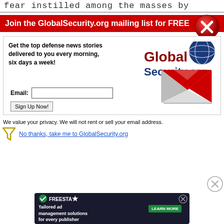fear instilled among the masses by
Join the GlobalSecurity.org mailing list for FREE
Get the top defense news stories delivered to you every morning, six days a week!
[Figure (logo): GlobalSecurity.org logo with globe icon]
Email:
Sign Up Now!
[Figure (illustration): Red and white envelope email icon]
We value your privacy. We will not rent or sell your email address.
No thanks, take me to GlobalSecurity.org
[Figure (screenshot): Advertisement banner: Tailored ad management solutions for every publisher - Freestar Learn More]